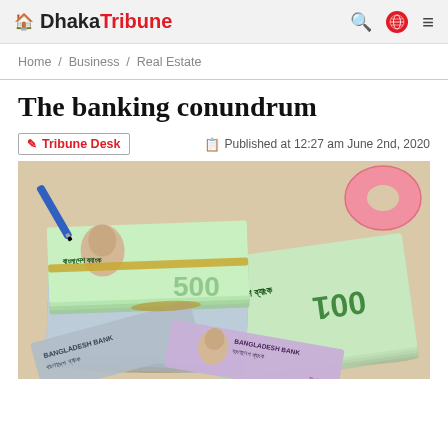Dhaka Tribune — navigation header with search, globe, and menu icons
Home / Business / Real Estate
The banking conundrum
Tribune Desk   Published at 12:27 am June 2nd, 2020
[Figure (photo): Stacks of Bangladeshi taka banknotes bundled with rubber bands, scattered on a beige surface with a blue pen and pink tape roll in the background]